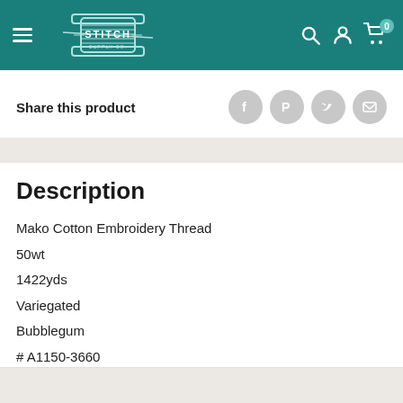[Figure (logo): Stitch Supply Co. logo on teal header background with hamburger menu, search, account, and cart icons]
Share this product
[Figure (infographic): Social share icons: Facebook, Pinterest, Twitter, Email]
Description
Mako Cotton Embroidery Thread
50wt
1422yds
Variegated
Bubblegum
# A1150-3660